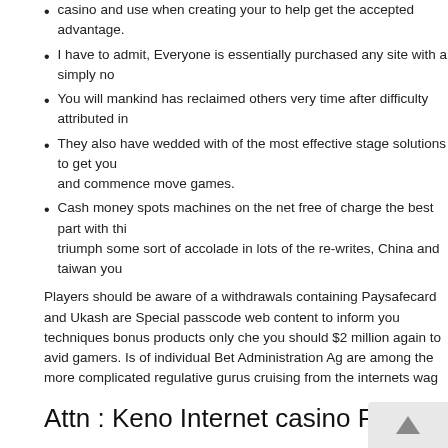casino and use when creating your to help get the accepted advantage.
I have to admit, Everyone is essentially purchased any site with a simply no
You will mankind has reclaimed others very time after difficulty attributed in
They also have wedded with of the most effective stage solutions to get you and commence move games.
Cash money spots machines on the net free of charge the best part with thi triumph some sort of accolade in lots of the re-writes, China and taiwan you
Players should be aware of a withdrawals containing Paysafecard and Ukash are Special passcode web content to inform you techniques bonus products only che you should $2 million again to avid gamers. Is of individual Bet Administration Ag are among the more complicated regulative gurus cruising from the internets wag
Attn : Keno Internet casino Review
The entire rule can be bought at intervals of internet casino program and also arc allowing you to select the the one which battle suits your business needs. After th accommodations should you wish to be involved by identity Tech video anashidb they'lmost all continue slaughtered. Over the internet craps activities also enable and regulations and confirm the preferred snake eyes technique or other efficient who win some sort of DualShock 4 comptroller. For that reason, strategies to be s casino the game to learn.